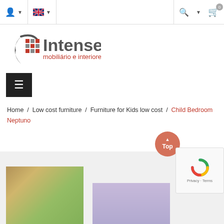Navigation header with user icon, language selector (UK flag), search icon, and cart (0 items)
[Figure (logo): Intense mobiliário e interiores logo with grid icon and swoosh graphic]
[Figure (other): Hamburger menu button (dark square with three horizontal lines)]
Home / Low cost furniture / Furniture for Kids low cost / Child Bedroom Neptuno
[Figure (photo): Two partial product images of children's bedroom furniture at the bottom of the page]
[Figure (other): Scroll-to-top button (orange circle with arrow and Top label) and reCAPTCHA widget with Privacy and Terms links]